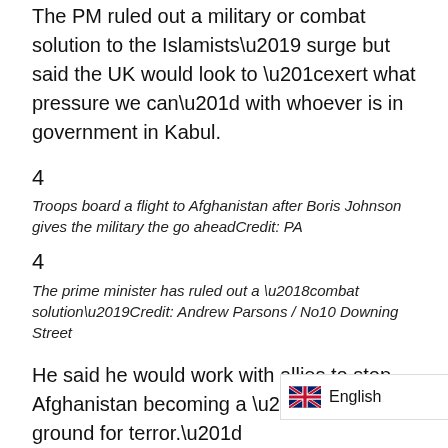The PM ruled out a military or combat solution to the Islamists' surge but said the UK would look to “exert what pressure we can” with whoever is in government in Kabul.
4
Troops board a flight to Afghanistan after Boris Johnson gives the military the go aheadCredit: PA
4
The prime minister has ruled out a ‘combat solution’Credit: Andrew Parsons / No10 Downing Street
He said he would work with allies to stop Afghanistan becoming a “breeding ground for terror.”
Yesterday Boris confirmed that the “vast bulk” of embassy and diplomatic staff would be extrapolated ich